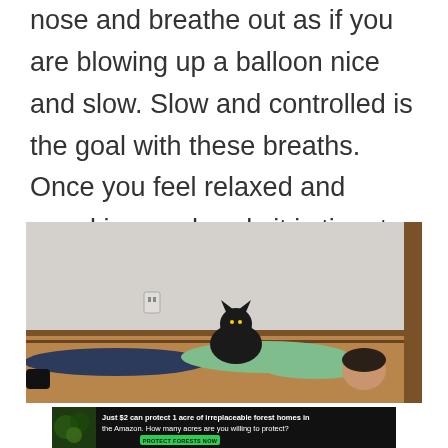nose and breathe out as if you are blowing up a balloon nice and slow. Slow and controlled is the goal with these breaths. Once you feel relaxed and equal in your hands it is time to move on to the next exercise.
[Figure (photo): A person lying on their back on a wooden floor against a grey wall, wearing a green top and dark patterned pants, with a black cat sitting on their torso. A wall outlet is visible in the background.]
[Figure (infographic): Advertisement banner with dark background showing rainforest imagery. Text reads: 'Just $2 can protect 1 acre of irreplaceable forest homes in the Amazon. How many acres are you willing to protect?' with a green 'PROTECT FORESTS NOW' button.]